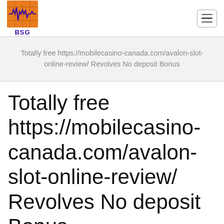BSG logo and navigation menu
Totally free https://mobilecasino-canada.com/avalon-slot-online-review/ Revolves No deposit Bonus
Totally free https://mobilecasino-canada.com/avalon-slot-online-review/ Revolves No deposit Bonus